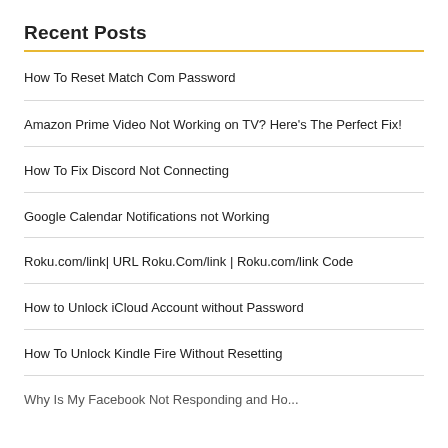Recent Posts
How To Reset Match Com Password
Amazon Prime Video Not Working on TV? Here's The Perfect Fix!
How To Fix Discord Not Connecting
Google Calendar Notifications not Working
Roku.com/link| URL Roku.Com/link | Roku.com/link Code
How to Unlock iCloud Account without Password
How To Unlock Kindle Fire Without Resetting
Why Is My Facebook Not Responding and How to...